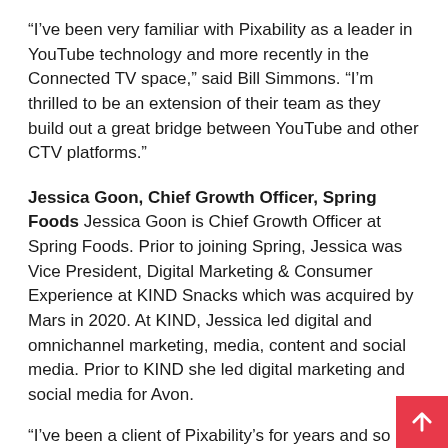“I’ve been very familiar with Pixability as a leader in YouTube technology and more recently in the Connected TV space,” said Bill Simmons. “I’m thrilled to be an extension of their team as they build out a great bridge between YouTube and other CTV platforms.”
Jessica Goon, Chief Growth Officer, Spring Foods
Jessica Goon is Chief Growth Officer at Spring Foods. Prior to joining Spring, Jessica was Vice President, Digital Marketing & Consumer Experience at KIND Snacks which was acquired by Mars in 2020. At KIND, Jessica led digital and omnichannel marketing, media, content and social media. Prior to KIND she led digital marketing and social media for Avon.
“I’ve been a client of Pixability’s for years and so am very familiar with the power of their platform to drive results on YouTube,” said Jessica Goon. “I’m very excited to join an amazing group of industry leaders on the Pixability